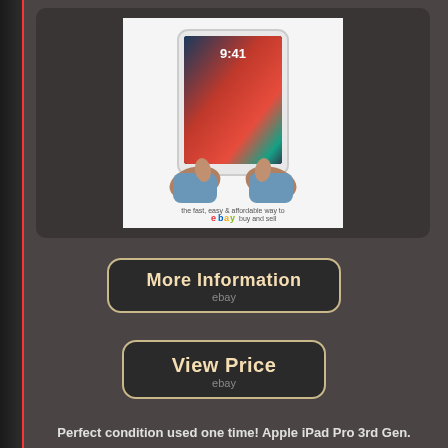[Figure (photo): Apple iPad Pro 3rd Gen product photo showing a person holding an iPad Pro with both hands, screen displaying 9:41 time, with eBay watermark overlay]
[Figure (other): More Information button with ebay branding — rounded rectangle dark button with tan/gold text]
[Figure (other): View Price button with ebay branding — rounded rectangle dark button with tan/gold text]
Perfect condition used one time! Apple iPad Pro 3rd Gen.